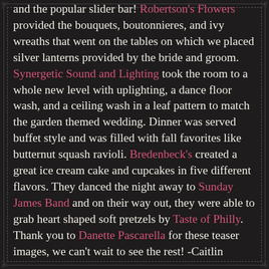and the popular slider bar! Robertson's Flowers provided the bouquets, boutonnieres, and ivy wreaths that went on the tables on which we placed silver lanterns provided by the bride and groom. Synergetic Sound and Lighting took the room to a whole new level with uplighting, a dance floor wash, and a ceiling wash in a leaf pattern to match the garden themed wedding. Dinner was served buffet style and was filled with fall favorites like butternut squash ravioli. Bredenbeck's created a great ice cream cake and cupcakes in five different flavors. They danced the night away to Sunday James Band and on their way out, they were able to grab heart shaped soft pretzels by Taste of Philly. Thank you to Danette Pascarella for these teaser images, we can't wait to see the rest! -Caitlin